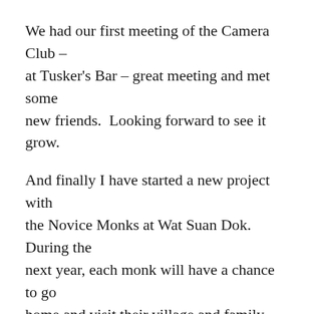We had our first meeting of the Camera Club – at Tusker's Bar – great meeting and met some new friends.  Looking forward to see it grow.
And finally I have started a new project with the Novice Monks at Wat Suan Dok.  During the next year, each monk will have a chance to go home and visit their village and family.  Some have not been home for 3 – 4 years, what a welcome trip.  Cambodia and Laos are the homeland for many, some others are from China, Burma and of course – Thailand.  Each have a unique story to tell about how they took up the Robe and what it was and is like living in their villages.